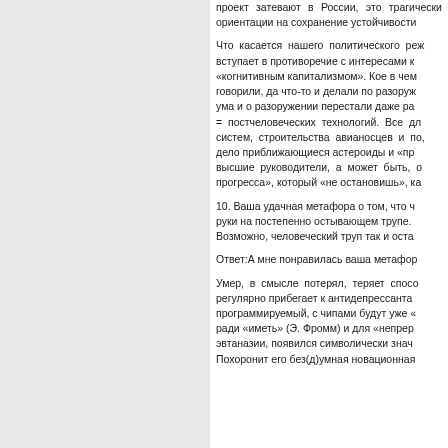проект затевают в России, это трагически ориентации на сохранение устойчивости
Что касается нашего политического режима вступает в противоречие с интересами когнитивным капитализмом. Кое в чем говорили, да что-то и делали по разоружению ума и о разоружении перестали даже раз = постчеловеческих технологий. Все для систем, строительства авианосцев и по, дело приближающиеся астероиды и «пр высшие руководители, а может быть, о прогресса», который «не остановишь», ка
10. Ваша удачная метафора о том, что ч руки на постепенно остывающем трупе. Возможно, человеческий труп так и оста
Ответ:А мне понравилась ваша метафор
Умер, в смысле потерял, теряет спосо регулярно прибегает к антидепрессанта программируемый, с чипами будут уже « ради «иметь» (Э. Фромм) и для «непрер эвтаназии, появился символически знач Похоронит его без(д)умная новационная